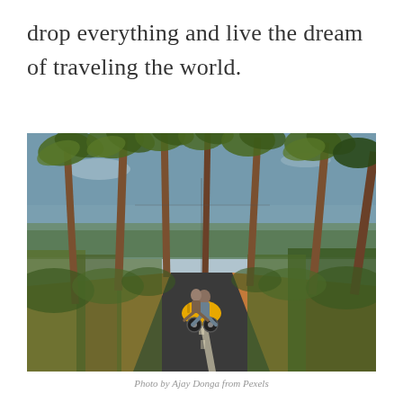drop everything and live the dream of traveling the world.
[Figure (photo): Two people riding a yellow scooter down a straight road lined with tall palm trees and lush green vegetation on both sides, with a hazy sky above. The riders have their legs out to the sides in a carefree pose.]
Photo by Ajay Donga from Pexels